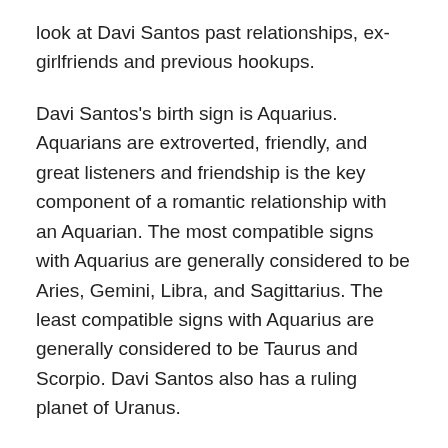look at Davi Santos past relationships, ex-girlfriends and previous hookups.
Davi Santos's birth sign is Aquarius. Aquarians are extroverted, friendly, and great listeners and friendship is the key component of a romantic relationship with an Aquarian. The most compatible signs with Aquarius are generally considered to be Aries, Gemini, Libra, and Sagittarius. The least compatible signs with Aquarius are generally considered to be Taurus and Scorpio. Davi Santos also has a ruling planet of Uranus.
Past Relationships